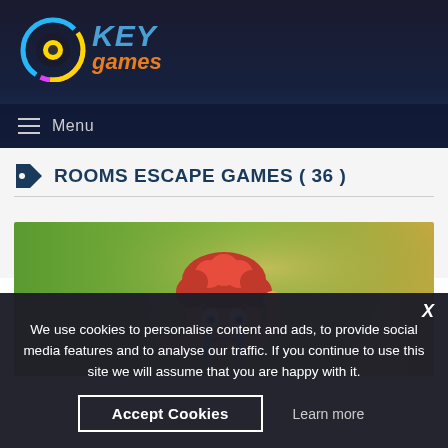[Figure (logo): Key Games logo with circular icon (blue, pink, yellow ring with yellow dot center) and stylized text 'KEY games' in blue and orange italic]
Menu
ROOMS ESCAPE GAMES ( 36 )
[Figure (illustration): Cartoon boy with curly red hair wearing a green shirt, hand raised to head, on a green and tan background]
We use cookies to personalise content and ads, to provide social media features and to analyse our traffic. If you continue to use this site we will assume that you are happy with it.
Accept Cookies
Learn more